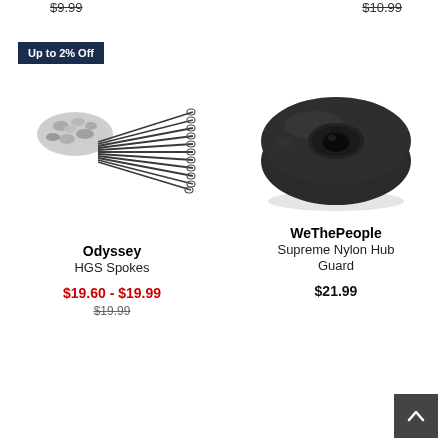$9.99
$10.99
Up to 2% Off
[Figure (photo): Odyssey HGS Spokes product photo: a bundle of dark metal spokes with silver nipples/end caps on the left side]
[Figure (photo): WeThePeople Supreme Nylon Hub Guard product photo: a black disc-shaped hub guard viewed from above, showing a central hole]
Odyssey
HGS Spokes
WeThePeople
Supreme Nylon Hub Guard
$19.60 - $19.99
$19.99
$21.99